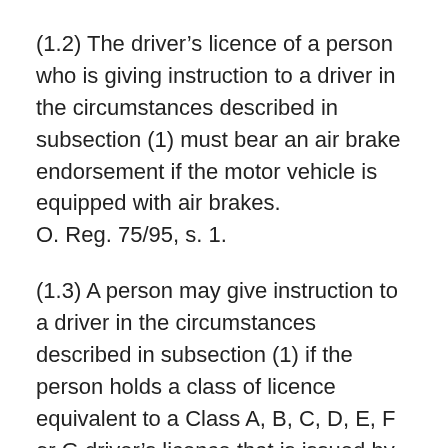(1.2) The driver's licence of a person who is giving instruction to a driver in the circumstances described in subsection (1) must bear an air brake endorsement if the motor vehicle is equipped with air brakes. O. Reg. 75/95, s. 1.
(1.3) A person may give instruction to a driver in the circumstances described in subsection (1) if the person holds a class of licence equivalent to a Class A, B, C, D, E, F or G driver's licence that is issued by another province or territory of Canada of which the person is a resident and that authorizes the person to drive the motor vehicle in which instruction is being given, including an equivalent air brake endorsement if the motor